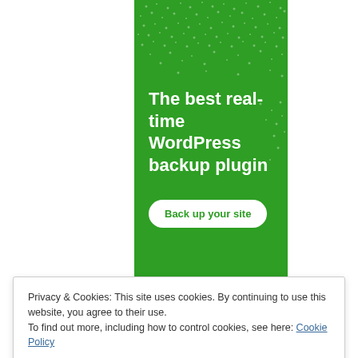[Figure (illustration): Green advertisement banner for a WordPress backup plugin. White bold text reads 'The best real-time WordPress backup plugin' with a white rounded button labeled 'Back up your site'. Background has a green gradient with small white dot pattern.]
Privacy & Cookies: This site uses cookies. By continuing to use this website, you agree to their use.
To find out more, including how to control cookies, see here: Cookie Policy
Close and accept